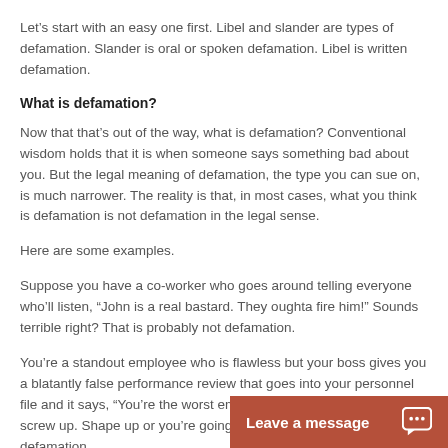Let's start with an easy one first. Libel and slander are types of defamation. Slander is oral or spoken defamation. Libel is written defamation.
What is defamation?
Now that that's out of the way, what is defamation? Conventional wisdom holds that it is when someone says something bad about you. But the legal meaning of defamation, the type you can sue on, is much narrower. The reality is that, in most cases, what you think is defamation is not defamation in the legal sense.
Here are some examples.
Suppose you have a co-worker who goes around telling everyone who'll listen, “John is a real bastard. They oughta fire him!” Sounds terrible right? That is probably not defamation.
You’re a standout employee who is flawless but your boss gives you a blatantly false performance review that goes into your personnel file and it says, “You’re the worst employee ever. You constantly screw up. Shape up or you’re going to be fired!” Again, probably not defamation.
In California, Civil Code §
[Figure (other): Leave a message chat button with speech bubble icon]